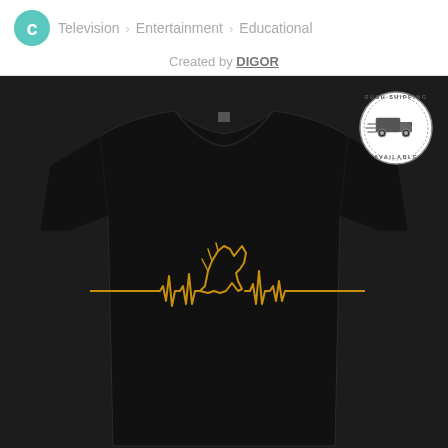C > Television > Entertainment > Educational
Created by DIGOR
[Figure (photo): Black t-shirt with a golden heartbeat/EKG line design featuring a stylized bird or roadrunner silhouette in the center. A 'Rush Shipping Available' circular badge is in the top right corner of the image.]